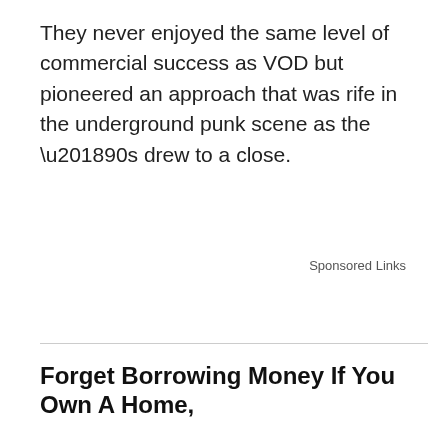They never enjoyed the same level of commercial success as VOD but pioneered an approach that was rife in the underground punk scene as the ’90s drew to a close.
Sponsored Links
Forget Borrowing Money If You Own A Home,